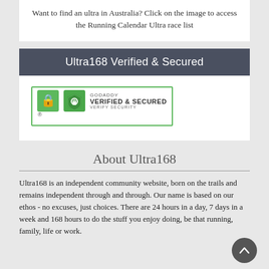Want to find an ultra in Australia? Click on the image to access the Running Calendar Ultra race list
Ultra168 Verified & Secured
[Figure (logo): GoDaddy Verified & Secured badge with shield icon and 'Verify Security' text]
About Ultra168
Ultra168 is an independent community website, born on the trails and remains independent through and through. Our name is based on our ethos - no excuses, just choices. There are 24 hours in a day, 7 days in a week and 168 hours to do the stuff you enjoy doing, be that running, family, life or work.